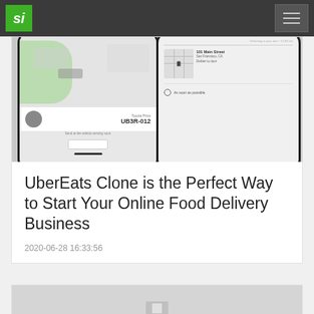Si
[Figure (screenshot): Two smartphone screens showing Uber/UberEats app interfaces — left phone shows a map with a car labeled UBER-012, right phone shows a delivery address at 101 Main Street, San Francisco, CA with 'As soon as possible' option]
UberEats Clone is the Perfect Way to Start Your Online Food Delivery Business
2020-06-28 16:33:56
[Figure (screenshot): Partial view of a second article card with a grey map-like background, partially cut off at the bottom of the page]